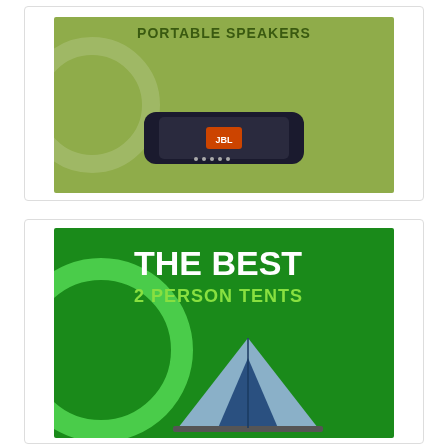[Figure (photo): Product image card showing a JBL portable Bluetooth speaker on an olive/green background with the text 'PORTABLE SPEAKERS' at the top]
[Figure (photo): Product image card showing a 2-person camping tent on a green background with the text 'THE BEST 2 PERSON TENTS' in large white and lime-green lettering]